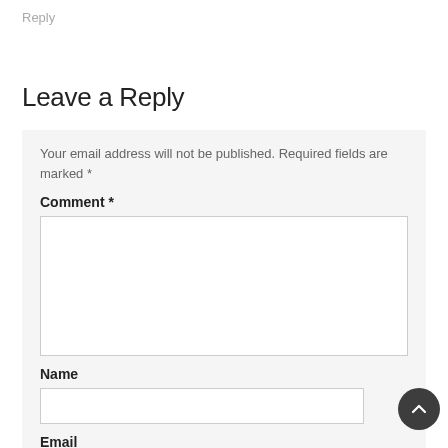Reply
Leave a Reply
Your email address will not be published. Required fields are marked *
Comment *
Name
Email